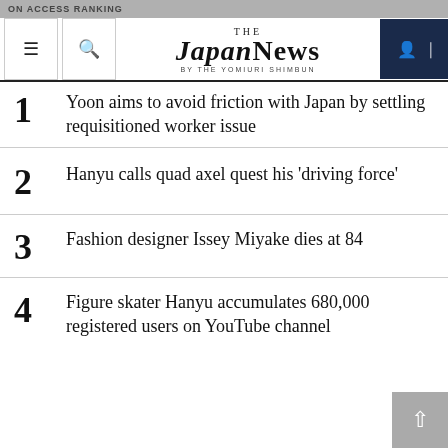THE JAPAN NEWS BY THE YOMIURI SHIMBUN
1 Yoon aims to avoid friction with Japan by settling requisitioned worker issue
2 Hanyu calls quad axel quest his 'driving force'
3 Fashion designer Issey Miyake dies at 84
4 Figure skater Hanyu accumulates 680,000 registered users on YouTube channel